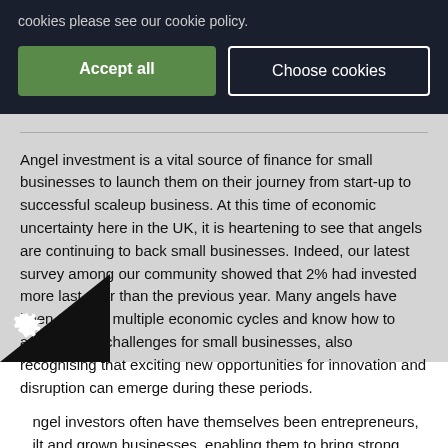cookies please see our cookie policy.
Accept all
Choose cookies
Angel investment is a vital source of finance for small businesses to launch them on their journey from start-up to successful scaleup business. At this time of economic uncertainty here in the UK, it is heartening to see that angels are continuing to back small businesses. Indeed, our latest survey among our community showed that 2% had invested more last year than the previous year. Many angels have been through multiple economic cycles and know how to address key challenges for small businesses, also recognising that exciting new opportunities for innovation and disruption can emerge during these periods.
Angel investors often have themselves been entrepreneurs, built and grown businesses, enabling them to bring strong value alongside the risk capital, including access to